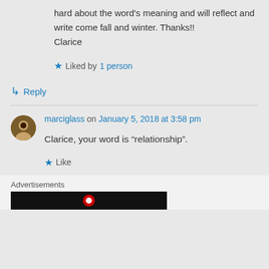hard about the word's meaning and will reflect and write come fall and winter. Thanks!! Clarice
Liked by 1 person
↳ Reply
marciglass on January 5, 2018 at 3:58 pm
Clarice, your word is “relationship”.
Like
Advertisements